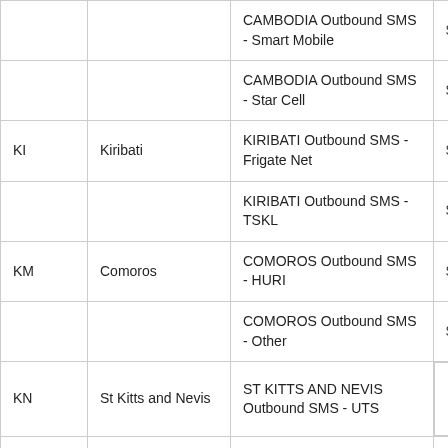|  |  | Description | Price |
| --- | --- | --- | --- |
|  |  | CAMBODIA Outbound SMS - Smart Mobile | $0.14 |
|  |  | CAMBODIA Outbound SMS - Star Cell | $0.09 |
| KI | Kiribati | KIRIBATI Outbound SMS - Frigate Net | $0.16 |
|  |  | KIRIBATI Outbound SMS - TSKL | $0.16 |
| KM | Comoros | COMOROS Outbound SMS - HURI | $0.08 |
|  |  | COMOROS Outbound SMS - Other | $0.14 |
| KN | St Kitts and Nevis | ST KITTS AND NEVIS Outbound SMS - UTS |  |
|  |  | ST. KITTS & NEVIS |  |